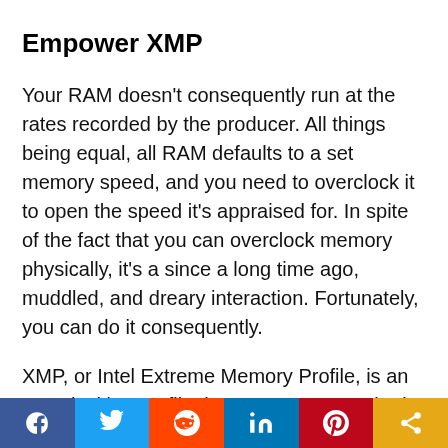Empower XMP
Your RAM doesn't consequently run at the rates recorded by the producer. All things being equal, all RAM defaults to a set memory speed, and you need to overclock it to open the speed it's appraised for. In spite of the fact that you can overclock memory physically, it's a since a long time ago, muddled, and dreary interaction. Fortunately, you can do it consequently.
XMP, or Intel Extreme Memory Profile, is an overclocking profile that comes pre-stacked on
[Figure (infographic): Social share bar with Facebook, Twitter, Reddit, LinkedIn, Pinterest, and share buttons]